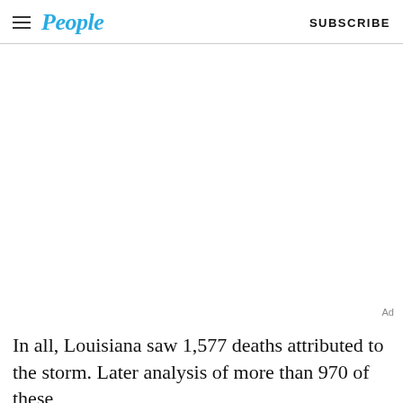People  SUBSCRIBE
[Figure (other): Advertisement placeholder area, blank white space]
In all, Louisiana saw 1,577 deaths attributed to the storm. Later analysis of more than 970 of these